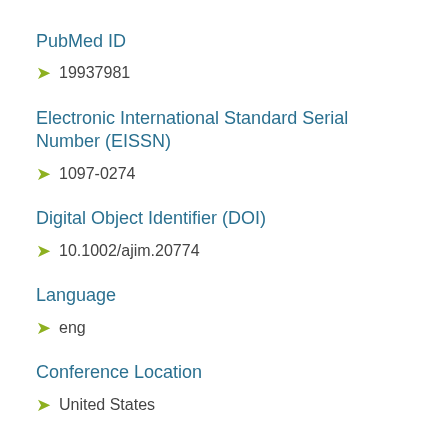PubMed ID
19937981
Electronic International Standard Serial Number (EISSN)
1097-0274
Digital Object Identifier (DOI)
10.1002/ajim.20774
Language
eng
Conference Location
United States